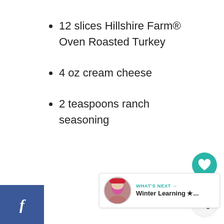12 slices Hillshire Farm® Oven Roasted Turkey
4 oz cream cheese
2 teaspoons ranch seasoning
[Figure (infographic): Social media share sidebar with Facebook (blue), Twitter (light blue), and Pinterest (red) buttons showing f, bird, and p icons]
[Figure (infographic): Floating right-side widget with teal heart button, count of 101, and share button]
[Figure (infographic): What's Next widget at bottom right with thumbnail of child and text 'WHAT'S NEXT → Winter Learning ★...']